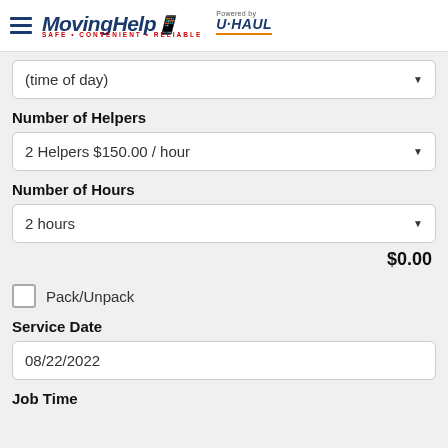MovingHelp – Powered by U-HAUL
(time of day)
Number of Helpers
2 Helpers $150.00 / hour
Number of Hours
2 hours
$0.00
Pack/Unpack
Service Date
08/22/2022
Job Time